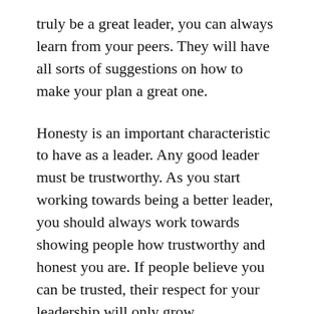truly be a great leader, you can always learn from your peers. They will have all sorts of suggestions on how to make your plan a great one.
Honesty is an important characteristic to have as a leader. Any good leader must be trustworthy. As you start working towards being a better leader, you should always work towards showing people how trustworthy and honest you are. If people believe you can be trusted, their respect for your leadership will only grow.
A good leader will never compromise their morals in order to compete with others. If you